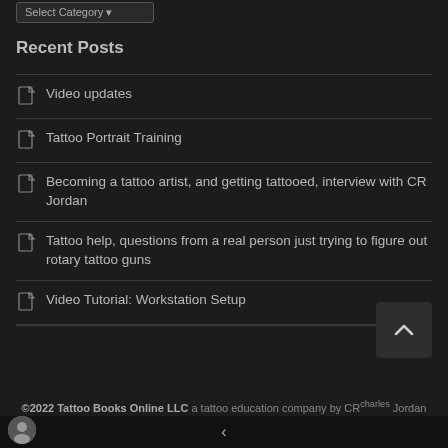Recent Posts
Video updates
Tattoo Portrait Training
Becoming a tattoo artist, and getting tattooed, interview with CR Jordan
Tattoo help, questions from a real person just trying to figure out rotary tattoo guns
Video Tutorial: Workstation Setup
©2022 Tattoo Books Online LLC a tattoo education company by CRcharles Jordan